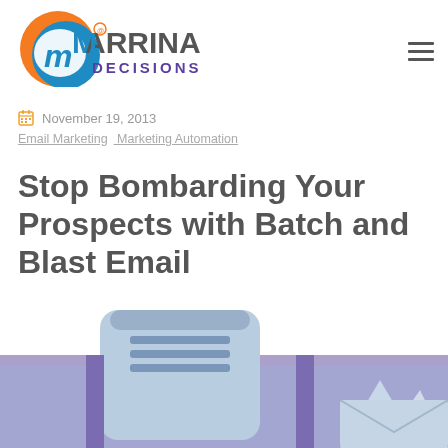[Figure (logo): Marrina Decisions logo with orange and blue circular icon and text]
November 19, 2013
Email Marketing  Marketing Automation
Stop Bombarding Your Prospects with Batch and Blast Email
[Figure (illustration): Blue and purple illustration of email/inbox concept at bottom of page]